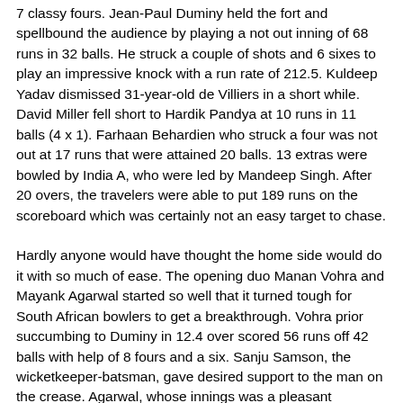7 classy fours. Jean-Paul Duminy held the fort and spellbound the audience by playing a not out inning of 68 runs in 32 balls. He struck a couple of shots and 6 sixes to play an impressive knock with a run rate of 212.5. Kuldeep Yadav dismissed 31-year-old de Villiers in a short while. David Miller fell short to Hardik Pandya at 10 runs in 11 balls (4 x 1). Farhaan Behardien who struck a four was not out at 17 runs that were attained 20 balls. 13 extras were bowled by India A, who were led by Mandeep Singh. After 20 overs, the travelers were able to put 189 runs on the scoreboard which was certainly not an easy target to chase.
Hardly anyone would have thought the home side would do it with so much of ease. The opening duo Manan Vohra and Mayank Agarwal started so well that it turned tough for South African bowlers to get a breakthrough. Vohra prior succumbing to Duminy in 12.4 over scored 56 runs off 42 balls with help of 8 fours and a six. Sanju Samson, the wicketkeeper-batsman, gave desired support to the man on the crease. Agarwal, whose innings was a pleasant...